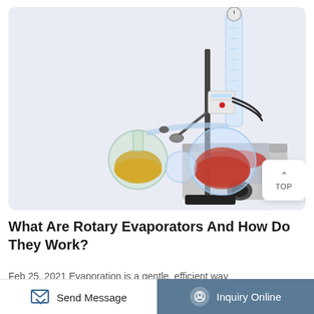[Figure (photo): Rotary evaporator laboratory equipment on a light blue-grey background. The device shows glass flasks, condenser column, motor unit, and water bath with red liquid. A white 'TOP' button is overlaid in the bottom-right corner of the image.]
What Are Rotary Evaporators And How Do They Work?
Feb 25, 2021 Evaporation is a gentle, efficient way